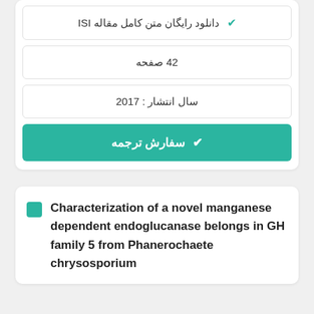✔ دانلود رایگان متن کامل مقاله ISI
42 صفحه
سال انتشار : 2017
✔ سفارش ترجمه
Characterization of a novel manganese dependent endoglucanase belongs in GH family 5 from Phanerochaete chrysosporium